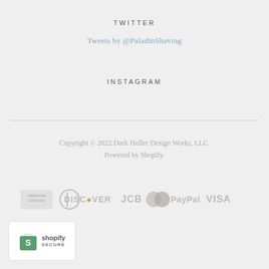TWITTER
Tweets by @PaladinShaving
INSTAGRAM
Copyright © 2022 Dark Holler Design Works, LLC.
Powered by Shopify.
[Figure (other): Payment method icons: American Express, Diners Club, Discover, JCB, Mastercard, PayPal, Visa]
[Figure (logo): Shopify Secure badge with green shopping bag logo]